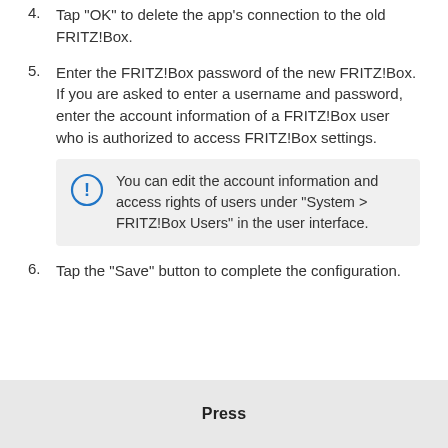4. Tap "OK" to delete the app's connection to the old FRITZ!Box.
5. Enter the FRITZ!Box password of the new FRITZ!Box. If you are asked to enter a username and password, enter the account information of a FRITZ!Box user who is authorized to access FRITZ!Box settings.
You can edit the account information and access rights of users under "System > FRITZ!Box Users" in the user interface.
6. Tap the "Save" button to complete the configuration.
Press